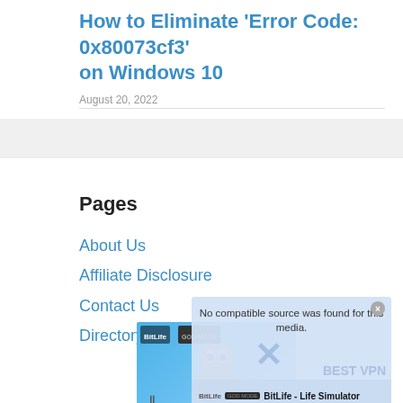How to Eliminate ‘Error Code: 0x80073cf3’ on Windows 10
August 20, 2022
Pages
About Us
Affiliate Disclosure
Contact Us
Directory
[Figure (screenshot): Ad overlay showing BitLife - Life Simulator advertisement with 'No compatible source was found for this media.' text and an image of a cartoon character. BEST VPN watermark visible in background.]